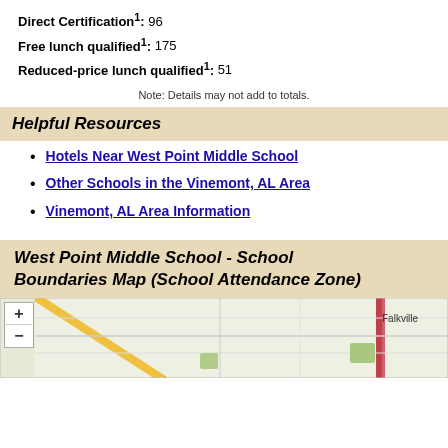Direct Certification1: 96
Free lunch qualified1: 175
Reduced-price lunch qualified1: 51
Note: Details may not add to totals.
Helpful Resources
Hotels Near West Point Middle School
Other Schools in the Vinemont, AL Area
Vinemont, AL Area Information
West Point Middle School - School Boundaries Map (School Attendance Zone)
[Figure (map): Map showing school boundaries for West Point Middle School near Falkville, AL area with zoom controls and street/road layout.]